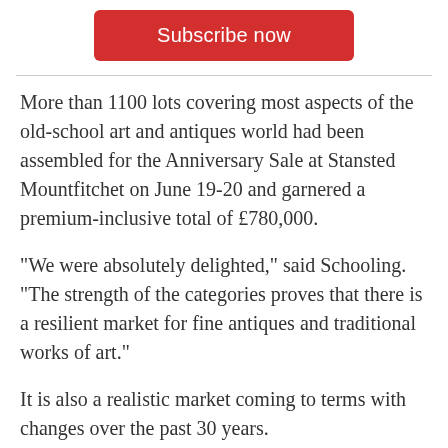[Figure (other): Red 'Subscribe now' button]
More than 1100 lots covering most aspects of the old-school art and antiques world had been assembled for the Anniversary Sale at Stansted Mountfitchet on June 19-20 and garnered a premium-inclusive total of £780,000.
“We were absolutely delighted,” said Schooling. “The strength of the categories proves that there is a resilient market for fine antiques and traditional works of art.”
It is also a realistic market coming to terms with changes over the past 30 years.
Whereas 85% of the 660 lots of silver, ceramics, glass and works of art offered on the first day got away, mainly to private UK and Continental buyers, the 500